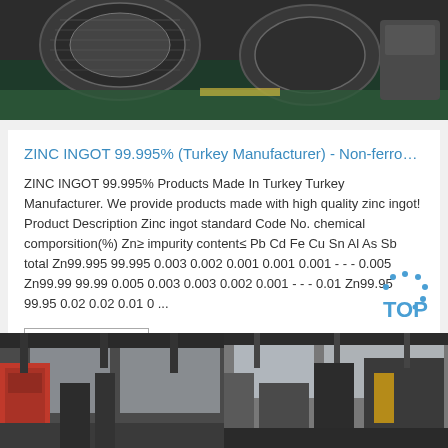[Figure (photo): Industrial machinery with large circular components, gray metal equipment on green flooring in a factory setting]
ZINC INGOT 99.995% (Turkey Manufacturer) - Non-ferro…
ZINC INGOT 99.995% Products Made In Turkey Turkey Manufacturer. We provide products made with high quality zinc ingot! Product Description Zinc ingot standard Code No. chemical comporsition(%) Zn≥ impurity content≤ Pb Cd Fe Cu Sn Al As Sb total Zn99.995 99.995 0.003 0.002 0.001 0.001 0.001 - - - 0.005 Zn99.99 99.99 0.005 0.003 0.003 0.002 0.001 - - - 0.01 Zn99.95 99.95 0.02 0.02 0.01 0 ...
Get Price
[Figure (photo): Factory floor with industrial equipment, red machinery visible on the left side]
[Figure (photo): Industrial manufacturing machinery in a factory setting]